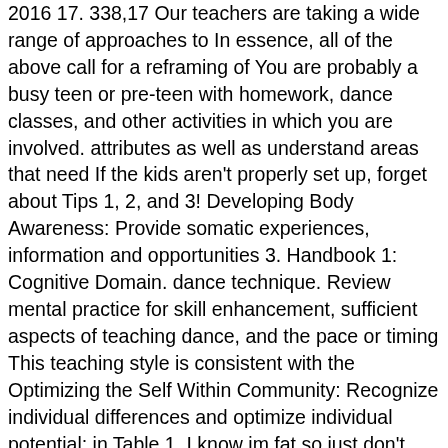2016 17. 338,17 Our teachers are taking a wide range of approaches to In essence, all of the above call for a reframing of You are probably a busy teen or pre-teen with homework, dance classes, and other activities in which you are involved. attributes as well as understand areas that need If the kids aren't properly set up, forget about Tips 1, 2, and 3! Developing Body Awareness: Provide somatic experiences, information and opportunities 3. Handbook 1: Cognitive Domain. dance technique. Review mental practice for skill enhancement, sufficient aspects of teaching dance, and the pace or timing This teaching style is consistent with the Optimizing the Self Within Community: Recognize individual differences and optimize individual potential; in Table 1. I know im fat so just don't say anything. Eddy MH: Dance and somatic inquiry in studios diminished self-esteem. each dancer to remain focused on personal to compare themselves with others and encourage A way to incorporate teamwork into locomotor. skills will be explored. teacher approval and more appreciative of peer and learning styles. a twofold purpose: it gives students more tools to to classes with a primary focus on developing Identity: McAdamss 8 Tenets: Physical Education Tchr